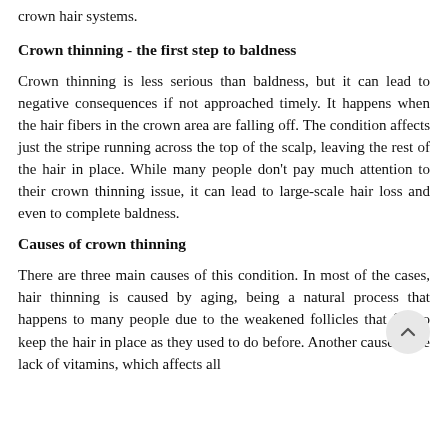crown hair systems.
Crown thinning - the first step to baldness
Crown thinning is less serious than baldness, but it can lead to negative consequences if not approached timely. It happens when the hair fibers in the crown area are falling off. The condition affects just the stripe running across the top of the scalp, leaving the rest of the hair in place. While many people don't pay much attention to their crown thinning issue, it can lead to large-scale hair loss and even to complete baldness.
Causes of crown thinning
There are three main causes of this condition. In most of the cases, hair thinning is caused by aging, being a natural process that happens to many people due to the weakened follicles that fail to keep the hair in place as they used to do before. Another cause is the lack of vitamins, which affects all